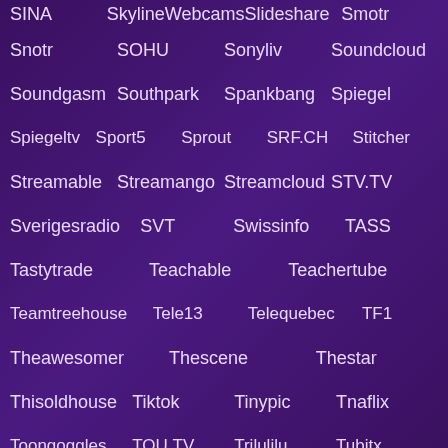SINA  SkylineWebcams  Slideshare  Smotr
Snotr  SOHU  Sonyliv  Soundcloud
Soundgasm  Southpark  Spankbang  Spiegel
Spiegeltv  Sport5  Sprout  SRF.CH  Stitcher
Streamable  Streamango  Streamcloud  STV.TV
Sverigesradio  SVT  Swissinfo  TASS
Tastytrade  Teachable  Teachertube
Teamtreehouse  Tele13  Telequebec  TF1
Theawesomer  Thescene  Thestar
Thisoldhouse  Tiktok  Tinypic  Tnaflix
Toongoggles  TOU.TV  Trilulilu  Tubitx
Tune.pk  Tunein  TV2  TV2.HU  TV4